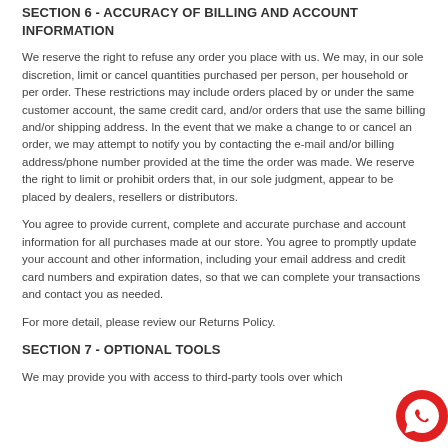SECTION 6 - ACCURACY OF BILLING AND ACCOUNT INFORMATION
We reserve the right to refuse any order you place with us. We may, in our sole discretion, limit or cancel quantities purchased per person, per household or per order. These restrictions may include orders placed by or under the same customer account, the same credit card, and/or orders that use the same billing and/or shipping address. In the event that we make a change to or cancel an order, we may attempt to notify you by contacting the e-mail and/or billing address/phone number provided at the time the order was made. We reserve the right to limit or prohibit orders that, in our sole judgment, appear to be placed by dealers, resellers or distributors.
You agree to provide current, complete and accurate purchase and account information for all purchases made at our store. You agree to promptly update your account and other information, including your email address and credit card numbers and expiration dates, so that we can complete your transactions and contact you as needed.
For more detail, please review our Returns Policy.
SECTION 7 - OPTIONAL TOOLS
We may provide you with access to third-party tools over which